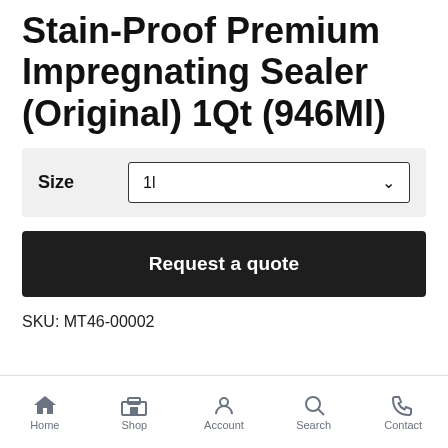Stain-Proof Premium Impregnating Sealer (Original) 1Qt (946Ml)
| Size |
| --- |
| 1l |
Request a quote
SKU: MT46-00002
Home  Shop  Account  Search  Contact